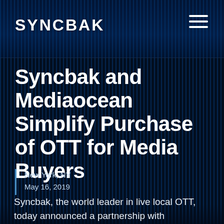SYNCBAK
Syncbak and Mediaocean Simplify Purchase of OTT for Media Buyers
New York, NY
May 16, 2019
Syncbak, the world leader in live local OTT, today announced a partnership with Mediaocean, the foundational media operating system that powers the